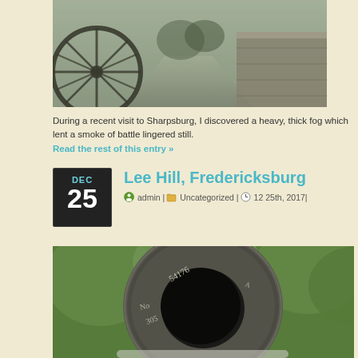[Figure (photo): Foggy outdoor scene with a cannon wheel on the left and a stone wall path receding into misty distance]
During a recent visit to Sharpsburg, I discovered a heavy, thick fog which lent a smoke of battle lingered still.
Read the rest of this entry »
Lee Hill, Fredericksburg
admin | Uncategorized | 12 25th, 2017|
[Figure (photo): Close-up of the muzzle end of a Civil War cannon with engraved numbers and letters visible on the cast iron barrel, green trees in background]